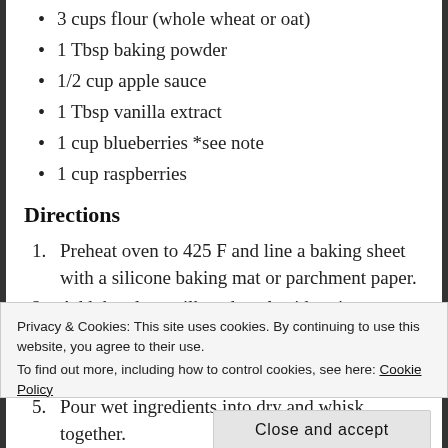3 cups flour (whole wheat or oat)
1 Tbsp baking powder
1/2 cup apple sauce
1 Tbsp vanilla extract
1 cup blueberries *see note
1 cup raspberries
Directions
Preheat oven to 425 F and line a baking sheet with a silicone baking mat or parchment paper.
Add the plant milk and apple cider vinegar to a medium sized bowl and mix. Set aside.
Privacy & Cookies: This site uses cookies. By continuing to use this website, you agree to their use.
To find out more, including how to control cookies, see here: Cookie Policy
Pour wet ingredients into dry and whisk together.